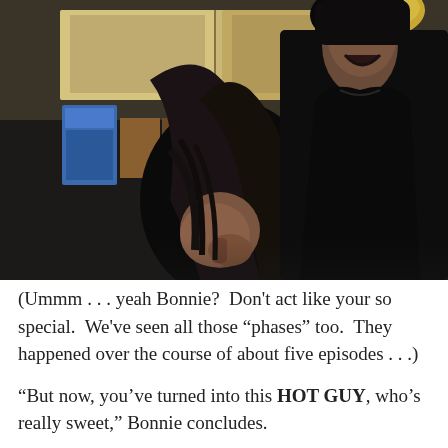[Figure (photo): A dark scene from a TV show showing a woman with long dark hair bending her head down with her hand near her face, and a tall man with dark hair behind/beside her wearing a black jacket, set in what appears to be a kitchen.]
(Ummm . . . yeah Bonnie?  Don't act like your so special.  We've seen all those “phases” too.  They happened over the course of about five episodes . . .)
“But now, you’ve turned into this HOT GUY, who’s really sweet,” Bonnie concludes.